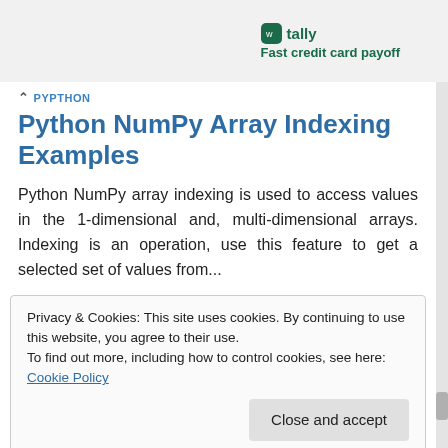tally — Fast credit card payoff
PYPTHON
Python NumPy Array Indexing Examples
Python NumPy array indexing is used to access values in the 1-dimensional and, multi-dimensional arrays. Indexing is an operation, use this feature to get a selected set of values from...
Privacy & Cookies: This site uses cookies. By continuing to use this website, you agree to their use.
To find out more, including how to control cookies, see here: Cookie Policy
Close and accept